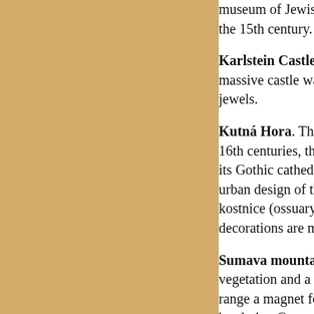museum of Jewish history and a famous cemetery dating from the 15th century.
Karlstein Castle. About 20 miles southwest of Prague, this massive castle was originally built to house the coronation jewels.
Kutná Hora. This medieval mining town was, from the 14th to 16th centuries, the economic center of the Czech Kingdom. With its Gothic cathedral and fortifications, it is a fine example of urban design of that time. A church in nearby Sedlec has a kostnice (ossuary): a cellar where chandeliers, crucifixes and decorations are made from human bones and skulls.
Sumava mountains. Virgin forests, lofty ridge-top meadows, vegetation and a pleasant climate combine to make this mountain range a magnet for nature-lovers. For 40 years, much of the area bordering Germany was closed, leaving nature a rare opportunity...
Lednice and Valtice. At the southernmost tip of Moravia, one of Europe's largest natural parks with lakes, romantic summer residences and lofty castles.
Moravian karst. Just a few miles north of Brno lies 92 km² (36 square miles) of natural wonder, with canyons, valleys, underground rivers and some 400 caves.